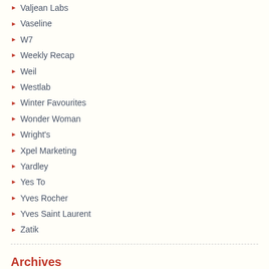Valjean Labs
Vaseline
W7
Weekly Recap
Weil
Westlab
Winter Favourites
Wonder Woman
Wright's
Xpel Marketing
Yardley
Yes To
Yves Rocher
Yves Saint Laurent
Zatik
Archives
August 2022 (13)